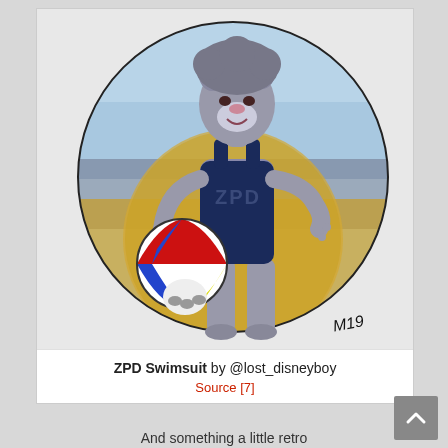[Figure (illustration): Fan art illustration of an anthropomorphic gray wolf/rabbit character in a dark navy blue ZPD one-piece swimsuit, holding a colorful beach ball (red, blue, yellow, white), standing in front of a circular beach background with sky and sand. Artist signature 'M19' in bottom right corner.]
ZPD Swimsuit by @lost_disneyboy
Source [7]
And something a little retro